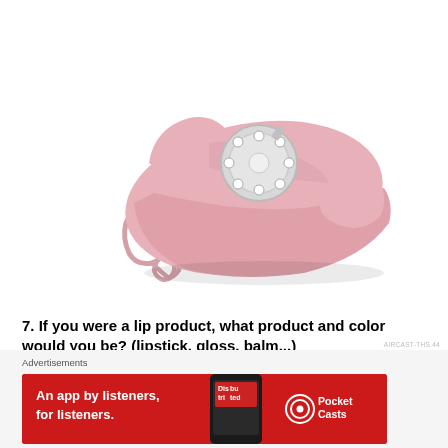[Figure (photo): A pink retro rotary-dial telephone (Princess style) on a white background, viewed from above at an angle. The phone is pastel pink with a coiled cord and circular dial with numbers.]
7. If you were a lip product, what product and color would you be? (lipstick, gloss, balm...)
MAC Saint Germain lipstick. All. The. Way.
[Figure (photo): Close-up photo of skin (arm/wrist area) with a smear of pinkish-purple lip product swatch visible at the bottom edge.]
Advertisements
[Figure (other): Advertisement banner for Pocket Casts app. Red background. Text: 'An app by listeners, for listeners.' with a phone showing 'Distributed' and the Pocket Casts logo and name on the right.]